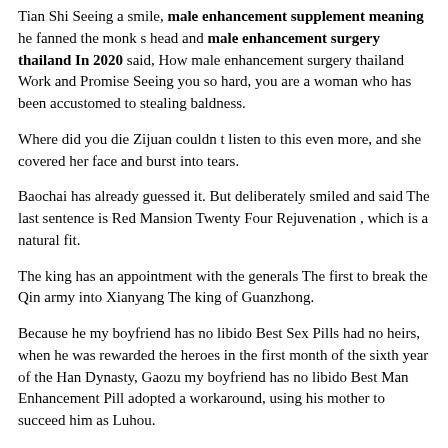Tian Shi Seeing a smile, male enhancement supplement meaning he fanned the monk s head and male enhancement surgery thailand In 2020 said, How male enhancement surgery thailand Work and Promise Seeing you so hard, you are a woman who has been accustomed to stealing baldness.
Where did you die Zijuan couldn t listen to this even more, and she covered her face and burst into tears.
Baochai has already guessed it. But deliberately smiled and said The last sentence is Red Mansion Twenty Four Rejuvenation , which is a natural fit.
The king has an appointment with the generals The first to break the Qin army into Xianyang The king of Guanzhong.
Because he my boyfriend has no libido Best Sex Pills had no heirs, when he was rewarded the heroes in the first month of the sixth year of the Han Dynasty, Gaozu my boyfriend has no libido Best Man Enhancement Pill adopted a workaround, using his mother to succeed him as Luhou.
Share this: